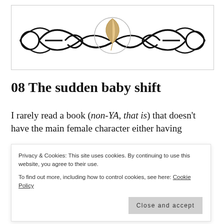[Figure (logo): Decorative blog header logo with ornamental swirl design in black and a circular emblem with a feather/quill in the center, outlined border box]
08 The sudden baby shift
I rarely read a book (non-YA, that is) that doesn't have the main female character either having
Privacy & Cookies: This site uses cookies. By continuing to use this website, you agree to their use.
To find out more, including how to control cookies, see here: Cookie Policy
[Close and accept]
child-free then suddenly they are knocked up and